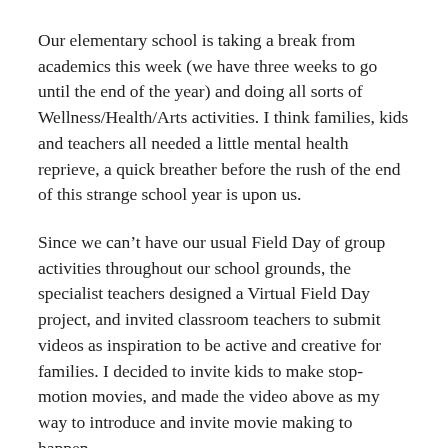Our elementary school is taking a break from academics this week (we have three weeks to go until the end of the year) and doing all sorts of Wellness/Health/Arts activities. I think families, kids and teachers all needed a little mental health reprieve, a quick breather before the rush of the end of this strange school year is upon us.
Since we can't have our usual Field Day of group activities throughout our school grounds, the specialist teachers designed a Virtual Field Day project, and invited classroom teachers to submit videos as inspiration to be active and creative for families. I decided to invite kids to make stop-motion movies, and made the video above as my way to introduce and invite movie making to happen.
Peace (frame by frame by frame),
Kevin